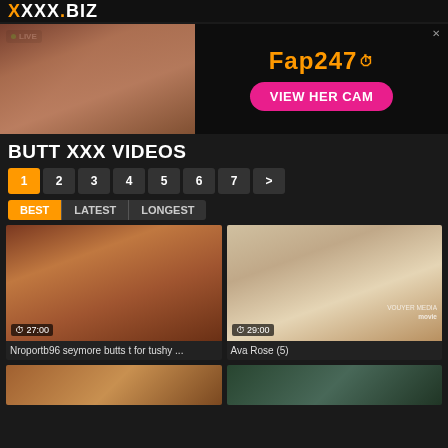XGXX.BIZ
[Figure (screenshot): Adult live cam advertisement banner with woman photo on left and Fap247 VIEW HER CAM button on right]
BUTT XXX VIDEOS
Pagination: 1 2 3 4 5 6 7 >
Sort: BEST | LATEST | LONGEST
[Figure (photo): Adult video thumbnail - 27:00 duration - Nroportb96 seymore butts t for tushy ...]
[Figure (photo): Adult video thumbnail - 29:00 duration - Ava Rose (5) - VOUYER MEDIA movie watermark]
[Figure (photo): Bottom row left video thumbnail (partially visible)]
[Figure (photo): Bottom row right video thumbnail (partially visible)]